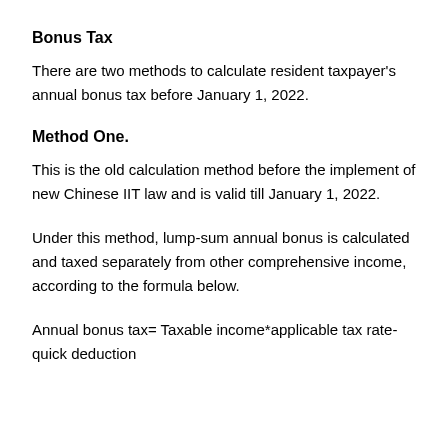Bonus Tax
There are two methods to calculate resident taxpayer's annual bonus tax before January 1, 2022.
Method One.
This is the old calculation method before the implement of new Chinese IIT law and is valid till January 1, 2022.
Under this method, lump-sum annual bonus is calculated and taxed separately from other comprehensive income, according to the formula below.
Annual bonus tax= Taxable income*applicable tax rate-quick deduction